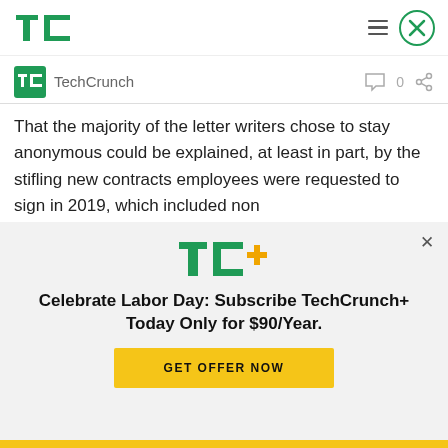TechCrunch
TechCrunch  0
That the majority of the letter writers chose to stay anonymous could be explained, at least in part, by the stifling new contracts employees were requested to sign in 2019, which included non
[Figure (logo): TechCrunch+ subscription modal overlay with TC+ logo, text 'Celebrate Labor Day: Subscribe TechCrunch+ Today Only for $90/Year.' and a GET OFFER NOW button]
Celebrate Labor Day: Subscribe TechCrunch+ Today Only for $90/Year.
GET OFFER NOW